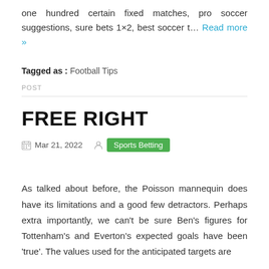one hundred certain fixed matches, pro soccer suggestions, sure bets 1×2, best soccer t… Read more »
Tagged as : Football Tips
POST
FREE RIGHT
Mar 21, 2022   Sports Betting
As talked about before, the Poisson mannequin does have its limitations and a good few detractors. Perhaps extra importantly, we can't be sure Ben's figures for Tottenham's and Everton's expected goals have been 'true'. The values used for the anticipated targets are